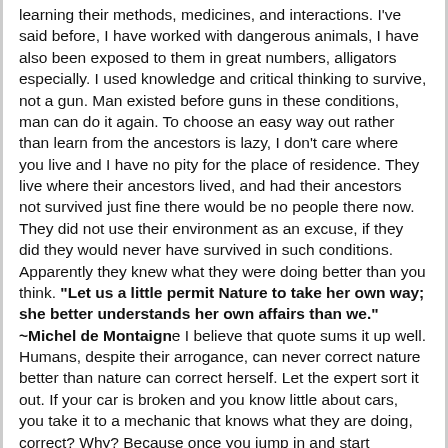learning their methods, medicines, and interactions. I've said before, I have worked with dangerous animals, I have also been exposed to them in great numbers, alligators especially. I used knowledge and critical thinking to survive, not a gun. Man existed before guns in these conditions, man can do it again. To choose an easy way out rather than learn from the ancestors is lazy, I don't care where you live and I have no pity for the place of residence. They live where their ancestors lived, and had their ancestors not survived just fine there would be no people there now. They did not use their environment as an excuse, if they did they would never have survived in such conditions. Apparently they knew what they were doing better than you think. "Let us a little permit Nature to take her own way; she better understands her own affairs than we." ~Michel de Montaigne I believe that quote sums it up well. Humans, despite their arrogance, can never correct nature better than nature can correct herself. Let the expert sort it out. If your car is broken and you know little about cars, you take it to a mechanic that knows what they are doing, correct? Why? Because once you jump in and start tinkering around, you are likely to make things worse and create new problems. I will say it again to emphasize the point. Let the expert handle it. . .and the only true expert on